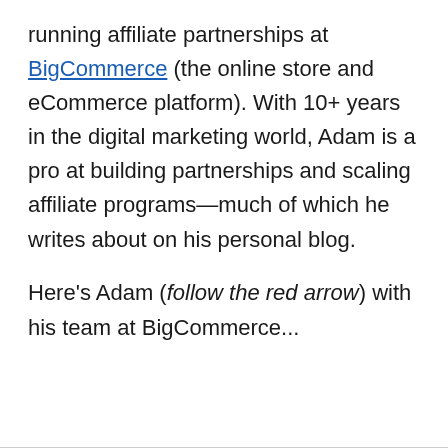running affiliate partnerships at BigCommerce (the online store and eCommerce platform). With 10+ years in the digital marketing world, Adam is a pro at building partnerships and scaling affiliate programs—much of which he writes about on his personal blog.
Here's Adam (follow the red arrow) with his team at BigCommerce...